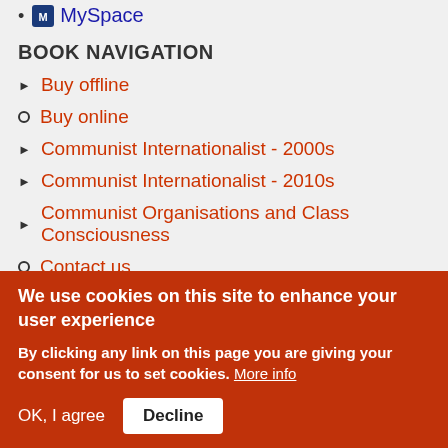MySpace
BOOK NAVIGATION
Buy offline
Buy online
Communist Internationalist - 2000s
Communist Internationalist - 2010s
Communist Organisations and Class Consciousness
Contact us
Dutch and German Communist Left
We use cookies on this site to enhance your user experience
By clicking any link on this page you are giving your consent for us to set cookies. More info
OK, I agree   Decline